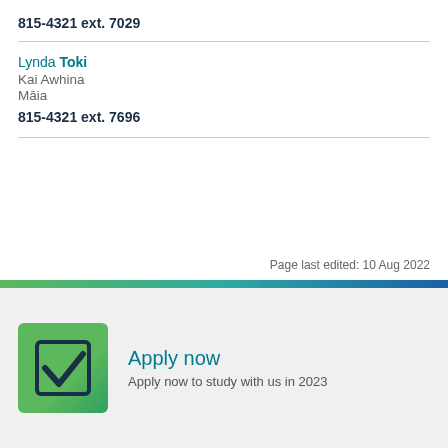815-4321 ext. 7029
Lynda Toki
Kai Awhina
Māia
815-4321 ext. 7696
Page last edited: 10 Aug 2022
[Figure (infographic): Apply now banner with green checkbox icon and text 'Apply now / Apply now to study with us in 2023']